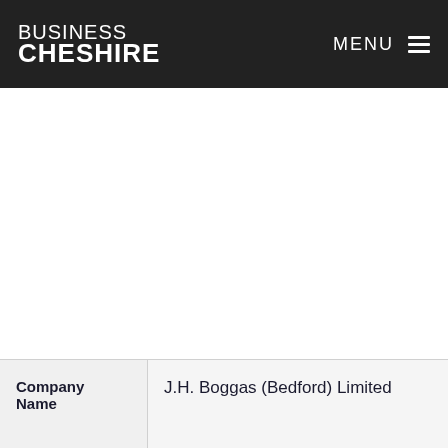BUSINESS CHESHIRE  MENU
| Company Name |  |
| --- | --- |
| Company Name | J.H. Boggas (Bedford) Limited |